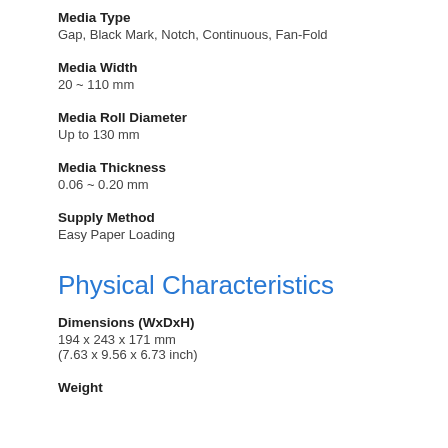Media Type
Gap, Black Mark, Notch, Continuous, Fan-Fold
Media Width
20 ~ 110 mm
Media Roll Diameter
Up to 130 mm
Media Thickness
0.06 ~ 0.20 mm
Supply Method
Easy Paper Loading
Physical Characteristics
Dimensions (WxDxH)
194 x 243 x 171 mm
(7.63 x 9.56 x 6.73 inch)
Weight